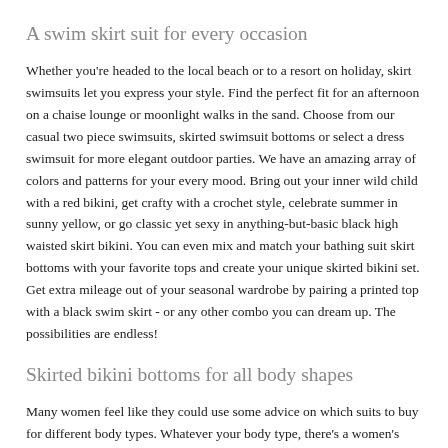A swim skirt suit for every occasion
Whether you're headed to the local beach or to a resort on holiday, skirt swimsuits let you express your style. Find the perfect fit for an afternoon on a chaise lounge or moonlight walks in the sand. Choose from our casual two piece swimsuits, skirted swimsuit bottoms or select a dress swimsuit for more elegant outdoor parties. We have an amazing array of colors and patterns for your every mood. Bring out your inner wild child with a red bikini, get crafty with a crochet style, celebrate summer in sunny yellow, or go classic yet sexy in anything-but-basic black high waisted skirt bikini. You can even mix and match your bathing suit skirt bottoms with your favorite tops and create your unique skirted bikini set. Get extra mileage out of your seasonal wardrobe by pairing a printed top with a black swim skirt - or any other combo you can dream up. The possibilities are endless!
Skirted bikini bottoms for all body shapes
Many women feel like they could use some advice on which suits to buy for different body types. Whatever your body type, there's a women's swim skirt to complement your figure. Flatter an hourglass shape with a pareo style bikini skirt set, or create curves with a ruffled Brazilian cut skirted suit...